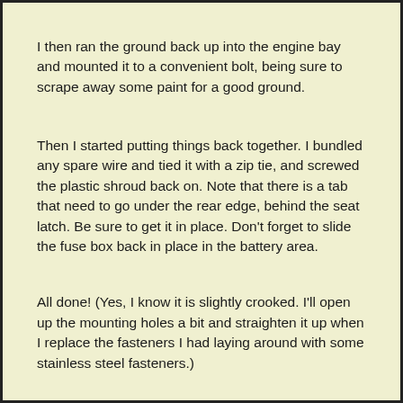I then ran the ground back up into the engine bay and mounted it to a convenient bolt, being sure to scrape away some paint for a good ground.
Then I started putting things back together. I bundled any spare wire and tied it with a zip tie, and screwed the plastic shroud back on. Note that there is a tab that need to go under the rear edge, behind the seat latch. Be sure to get it in place. Don't forget to slide the fuse box back in place in the battery area.
All done! (Yes, I know it is slightly crooked. I'll open up the mounting holes a bit and straighten it up when I replace the fasteners I had laying around with some stainless steel fasteners.)